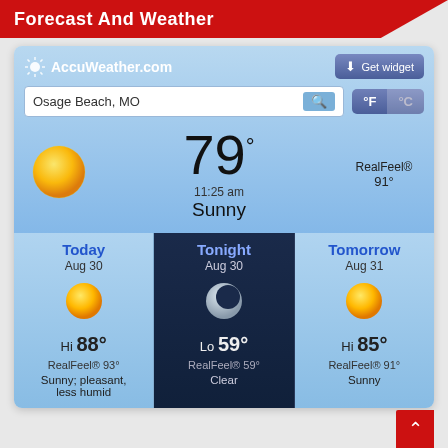Forecast And Weather
[Figure (screenshot): AccuWeather.com widget showing current weather for Osage Beach, MO: 79°F, Sunny at 11:25 am, RealFeel® 91°. Forecast shows Today Aug 30 Hi 88° RealFeel® 93° Sunny pleasant less humid; Tonight Aug 30 Lo 59° RealFeel® 59° Clear; Tomorrow Aug 31 Hi 85° RealFeel® 91° Sunny.]